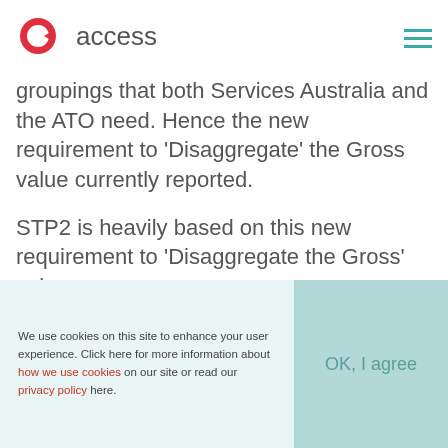access
groupings that both Services Australia and the ATO need. Hence the new requirement to 'Disaggregate' the Gross value currently reported.
STP2 is heavily based on this new requirement to 'Disaggregate the Gross' value you are
We use cookies on this site to enhance your user experience. Click here for more information about how we use cookies on our site or read our privacy policy here.